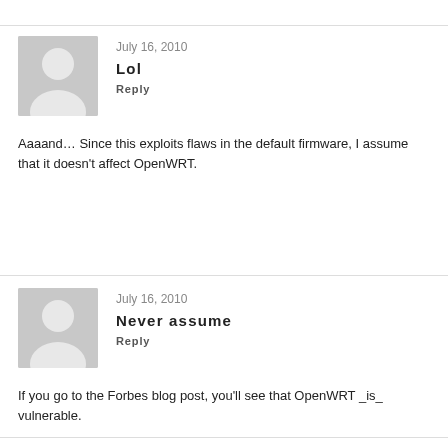July 16, 2010
Lol
Reply
Aaaand… Since this exploits flaws in the default firmware, I assume that it doesn't affect OpenWRT.
July 16, 2010
Never assume
Reply
If you go to the Forbes blog post, you'll see that OpenWRT _is_ vulnerable.